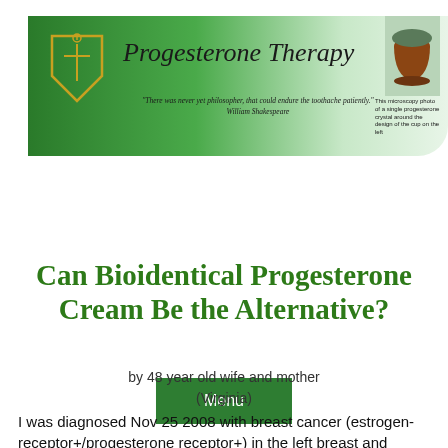[Figure (other): Website header banner for 'Progesterone Therapy' with green gradient background, logo icon on left, title text in center, photo of a cup on right, quote by William Shakespeare, and microscope photo caption]
Menu
Can Bioidentical Progesterone Cream Be the Alternative?
by 48 year old wife and mother (Virginia)
I was diagnosed Nov 25 2008 with breast cancer (estrogen-receptor+/progesterone receptor+) in the left breast and